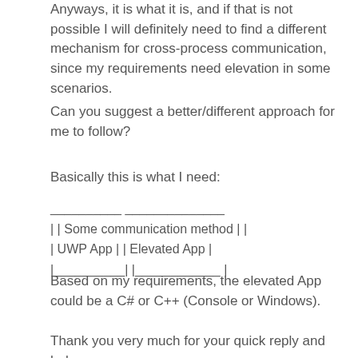Anyways, it is what it is, and if that is not possible I will definitely need to find a different mechanism for cross-process communication, since my requirements need elevation in some scenarios.
Can you suggest a better/different approach for me to follow?
Basically this is what I need:
[Figure (other): ASCII diagram showing two boxes: UWP App and Elevated App connected by Some communication method]
Based on my requirements, the elevated App could be a C# or C++ (Console or Windows).
Thank you very much for your quick reply and help.